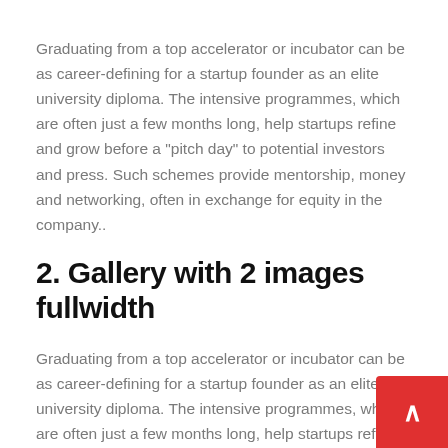Graduating from a top accelerator or incubator can be as career-defining for a startup founder as an elite university diploma. The intensive programmes, which are often just a few months long, help startups refine and grow before a "pitch day" to potential investors and press. Such schemes provide mentorship, money and networking, often in exchange for equity in the company..
2. Gallery with 2 images fullwidth
Graduating from a top accelerator or incubator can be as career-defining for a startup founder as an elite university diploma. The intensive programmes, which are often just a few months long, help startups refine and grow before a "pitch day"